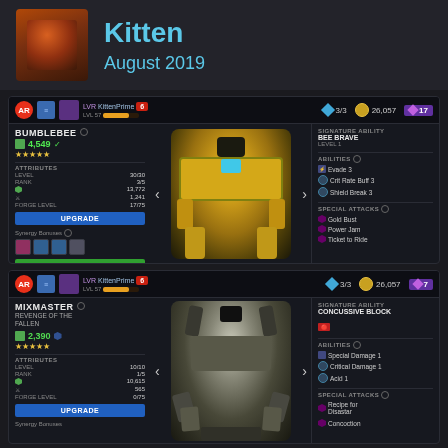Kitten
August 2019
[Figure (screenshot): Bumblebee robot character card from a mobile game. Shows character stats: Power 4,549, Level 30/30, Rank 3/5, Shield 13,772, Attack 1,241, Forge Level 17/75. Signature Ability: Bee Brave Level 1. Abilities: Evade 3, Crit Rate Buff 3, Shield Break 3. Special Attacks: Gold Bust, Power Jam, Ticket to Ride. 3/3 health, 26,057 coins, 17 gems.]
[Figure (screenshot): Mixmaster robot character card. Shows: Revenge of the Fallen, Power 2,390, Level 10/10, Rank 1/5, Shield 10,615, Attack 565, Forge Level 0/75. Signature Ability: Concussive Block. Abilities: Special Damage 1, Critical Damage 1, Acid 1. Special Attacks: Recipe for Disaster, Concoction. 3/3 health, 26,057 coins, 7 gems.]